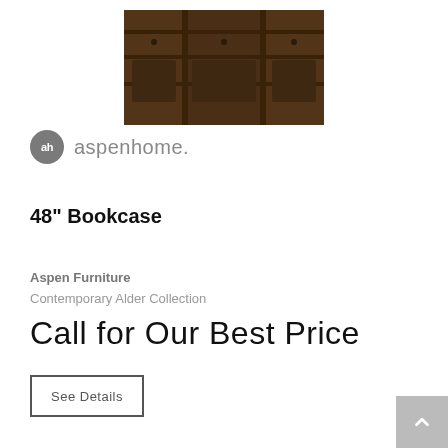[Figure (photo): Product photo of a dark wood 48-inch bookcase with multiple shelves and decorative panels, partial top view cropped at the top of the page]
[Figure (logo): Aspenhome logo: a dark grey circular icon with 'ah' text followed by 'aspenhome.' in grey sans-serif font]
48" Bookcase
Aspen Furniture
Contemporary Alder Collection
Call for Our Best Price
See Details